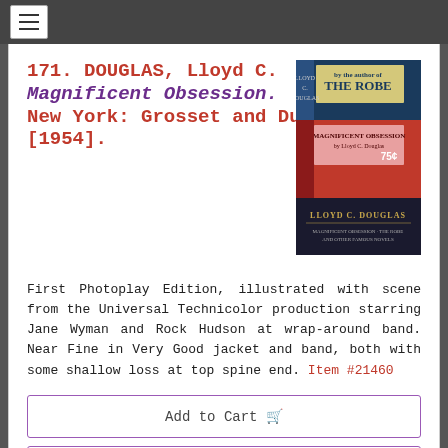≡ (navigation menu)
171. DOUGLAS, Lloyd C. Magnificent Obsession. New York: Grosset and Dunlap, [1954].
[Figure (photo): Book cover image showing 'The Robe' and 'Magnificent Obsession' by Lloyd C. Douglas, with stacked book covers in blue, red/pink, and dark navy colors]
First Photoplay Edition, illustrated with scene from the Universal Technicolor production starring Jane Wyman and Rock Hudson at wrap-around band. Near Fine in Very Good jacket and band, both with some shallow loss at top spine end. Item #21460